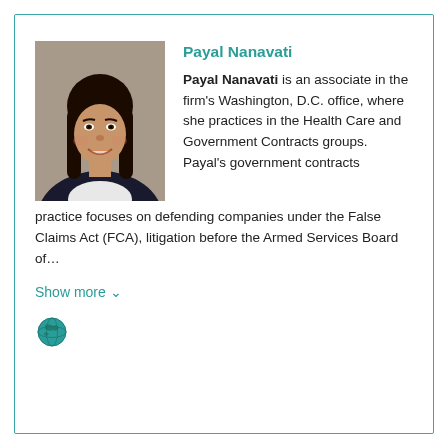Payal Nanavati
Payal Nanavati is an associate in the firm's Washington, D.C. office, where she practices in the Health Care and Government Contracts groups. Payal's government contracts practice focuses on defending companies under the False Claims Act (FCA), litigation before the Armed Services Board of…
[Figure (photo): Headshot of Payal Nanavati, a woman with long dark hair, smiling, wearing a dark blazer over a white top, against a neutral background.]
Show more ∨
[Figure (illustration): Globe icon in teal/blue color]